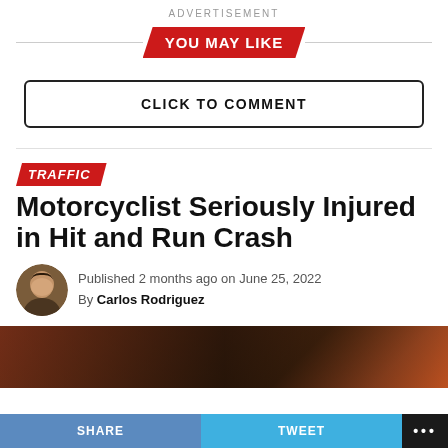ADVERTISEMENT
YOU MAY LIKE
CLICK TO COMMENT
TRAFFIC
Motorcyclist Seriously Injured in Hit and Run Crash
Published 2 months ago on June 25, 2022
By Carlos Rodriguez
[Figure (photo): Dark photo of a street scene at night]
SHARE   TWEET   ...